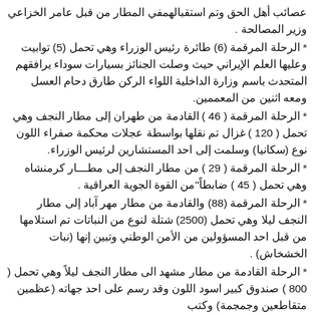عصائب أهل الحق وتم استقبالهمفي المطار من قبل عامر الخزاعي وزير المصالحة .
* الرحلة المرقمة (6) طائرة رئيس الوزراء وهي تحمل (5) توابيت وعليها العلم الإيراني حيث وصلت الجنائز بسيارات سوداء يرافقهم المتحدث باسم وزارة الداخلية اللواء الركن طارق دحام العسل ومعه اثنين من المعممين.
* الرحلة المرقمة ( 46 ) القادمة من طهران إلى مطار النجف وهي تحمل ( 120 ) غزال تم نقلها بواسطة عجلات محكمة صفراء اللون نوع (سكانيا) وسلمت إلى احد المستشارين لرئيس الوزراء.
* الرحلة المرقمة ( 29 ) من مطار النجف إلى مطـــار كرمنشاه وهي تحمل ( 45 ) ضابطاً"من القوة الجوية العراقية .
* الرحلة المرقمة (88) والقادمة من مطار مهر آباد إلى مطار النجف ليلا وهي تحمل (2500) شتلة لنوع من النباتات تم استلامها من قبل احد المسؤولين من الأمن الوطني وتبين إنها (نبات الخشخاش) .
* الرحلة القادمة من مطار مشهد الى مطار النجف ليلاً وهي تحمل ( 800 ) صندوق كبير اسود اللون وقد رسم على احد جهاته (عظمين متقاطعين وجمجمة) وكتب